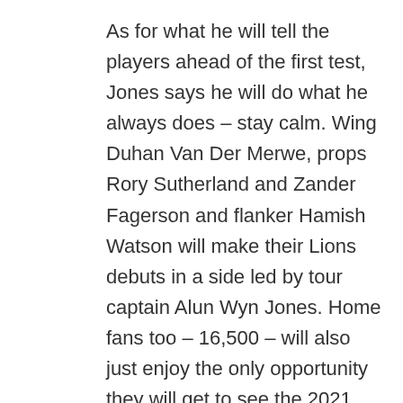As for what he will tell the players ahead of the first test, Jones says he will do what he always does – stay calm. Wing Duhan Van Der Merwe, props Rory Sutherland and Zander Fagerson and flanker Hamish Watson will make their Lions debuts in a side led by tour captain Alun Wyn Jones. Home fans too – 16,500 – will also just enjoy the only opportunity they will get to see the 2021 Lions in the flesh, as none will be allowed to travel to South Africa where it still looks unlikely that even home fans will be let into stadiums. People use their last salary to come and see us play. It was good to see coaches. When things went a bit pear-shaped a few years ago he was the first guy to reach out to me and I